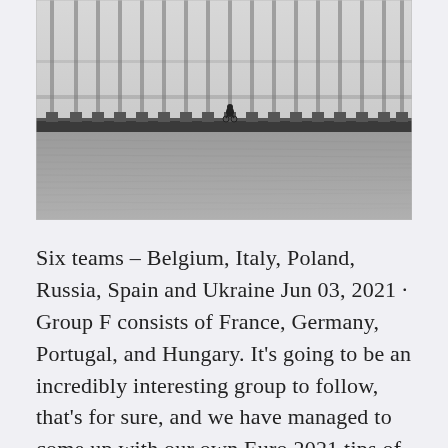[Figure (photo): Black and white photograph of a long suspension bridge over water with a lone cyclist riding across it. Vertical cables hang from the bridge structure. The water below is textured and grey.]
Six teams – Belgium, Italy, Poland, Russia, Spain and Ukraine Jun 03, 2021 · Group F consists of France, Germany, Portugal, and Hungary. It's going to be an incredibly interesting group to follow, that's for sure, and we have managed to come up with our own Euro 2021 tips of Group F ahead of the event: France to win vs Germany – 2.62 – 888sport. Portugal to win vs Hungary – 1.57 – Bet365.